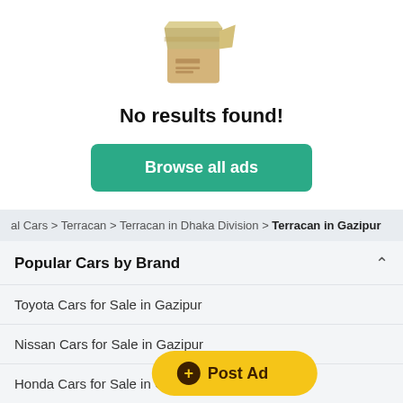[Figure (illustration): Open cardboard box icon indicating no results]
No results found!
Browse all ads
al Cars > Terracan > Terracan in Dhaka Division > Terracan in Gazipur
Popular Cars by Brand
Toyota Cars for Sale in Gazipur
Nissan Cars for Sale in Gazipur
Honda Cars for Sale in Ga
Mitsubishi Cars for Sale in Gazipur
Post Ad